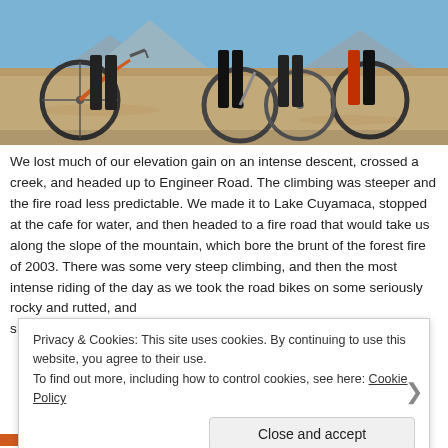[Figure (photo): Group of mountain bikers standing with their bikes on a dirt road in a dry, sunny landscape with mountains in the background. Several riders visible from legs/torso down, wearing shorts and helmets, with various mountain bikes including an orange one.]
We lost much of our elevation gain on an intense descent, crossed a creek, and headed up to Engineer Road. The climbing was steeper and the fire road less predictable. We made it to Lake Cuyamaca, stopped at the cafe for water, and then headed to a fire road that would take us along the slope of the mountain, which bore the brunt of the forest fire of 2003. There was some very steep climbing, and then the most intense riding of the day as we took the road bikes on some seriously rocky and rutted, and s p
Privacy & Cookies: This site uses cookies. By continuing to use this website, you agree to their use.
To find out more, including how to control cookies, see here: Cookie Policy
Close and accept